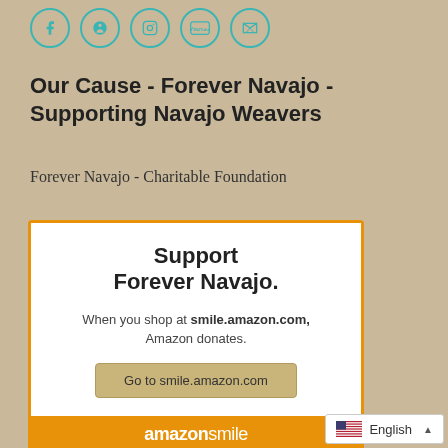[Figure (other): Social media icons in teal circles: Facebook, Pinterest, Instagram, YouTube, Vimeo]
Our Cause - Forever Navajo - Supporting Navajo Weavers
Forever Navajo - Charitable Foundation
[Figure (infographic): Amazon Smile donation widget with text: Support Forever Navajo. When you shop at smile.amazon.com, Amazon donates. Button: Go to smile.amazon.com. Footer: amazonsmile]
English